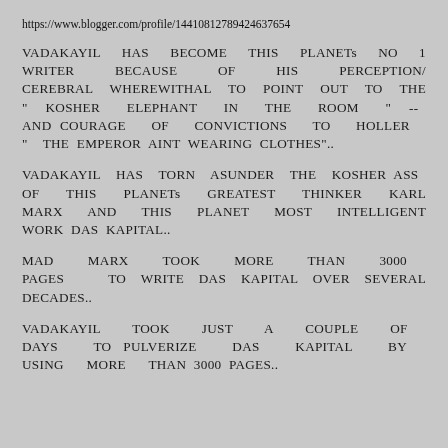https://www.blogger.com/profile/14410812789424637654
VADAKAYIL HAS BECOME THIS PLANETs NO 1 WRITER BECAUSE OF HIS PERCEPTION/ CEREBRAL WHEREWITHAL TO POINT OUT TO THE " KOSHER ELEPHANT IN THE ROOM " -- AND COURAGE OF CONVICTIONS TO HOLLER " THE EMPEROR AINT WEARING CLOTHES"..
VADAKAYIL HAS TORN ASUNDER THE KOSHER ASS OF THIS PLANETs GREATEST THINKER KARL MARX AND THIS PLANET MOST INTELLIGENT WORK DAS KAPITAL..
MAD MARX TOOK MORE THAN 3000 PAGES TO WRITE DAS KAPITAL OVER SEVERAL DECADES..
VADAKAYIL TOOK JUST A COUPLE OF DAYS TO PULVERIZE DAS KAPITAL BY USING MORE THAN 3000 PAGES..